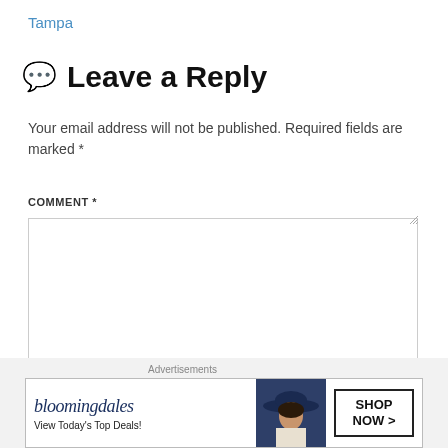Tampa
Leave a Reply
Your email address will not be published. Required fields are marked *
COMMENT *
[Figure (screenshot): Empty comment text area input box]
[Figure (infographic): Bloomingdale's advertisement banner: 'bloomingdales - View Today's Top Deals!' with SHOP NOW > button and model wearing hat]